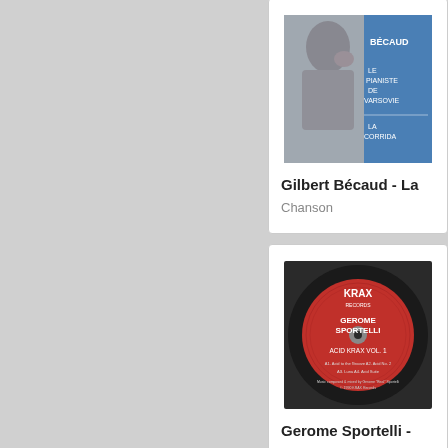[Figure (photo): Album cover for Gilbert Bécaud - La Corrida / Le Pianiste de Varsovie, showing a black and white photo of a man and blue cover with text]
Gilbert Bécaud - La
Chanson
[Figure (photo): Red vinyl record label for KRAX records, reading GEROME SPORTELLI, ACID KRAX VOL. 1]
Gerome Sportelli -
Acid House, Acid